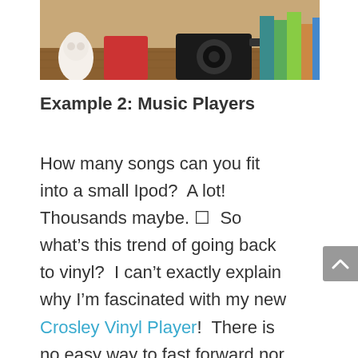[Figure (photo): Top portion of a photo showing a wooden surface with a white owl figurine, red object, black camera, and colorful books/items on a shelf]
Example 2: Music Players
How many songs can you fit into a small Ipod?  A lot! Thousands maybe. ♥  So what’s this trend of going back to vinyl?  I can’t exactly explain why I’m fascinated with my new Crosley Vinyl Player!  There is no easy way to fast forward nor jump to certain tracks or even